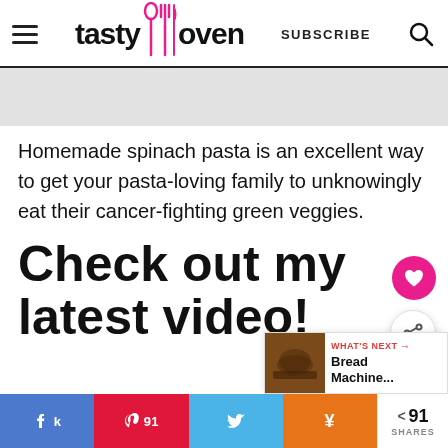tasty oven | SUBSCRIBE
[Figure (other): Gray advertisement placeholder block]
Homemade spinach pasta is an excellent way to get your pasta-loving family to unknowingly eat their cancer-fighting green veggies.
Check out my latest video!
Share on Facebook | Pin 91 | Share on Twitter | Yummly | < 91 SHARES | WHAT'S NEXT → Bread Machine...